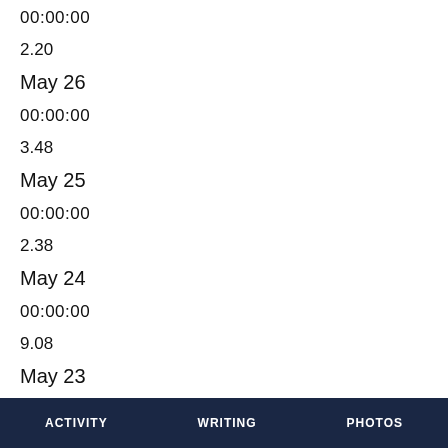00:00:00
2.20
May 26
00:00:00
3.48
May 25
00:00:00
2.38
May 24
00:00:00
9.08
May 23
ACTIVITY    WRITING    PHOTOS